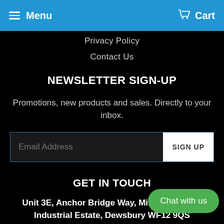Menu   Cart
Privacy Policy
Contact Us
NEWSLETTER SIGN-UP
Promotions, new products and sales. Directly to your inbox.
Email Address   SIGN UP
GET IN TOUCH
Unit 3E, Anchor Bridge Way, Mill Street West Industrial Estate, Dewsbury WF12 9QS
07434 400 400
info@hazmotorsport.co...